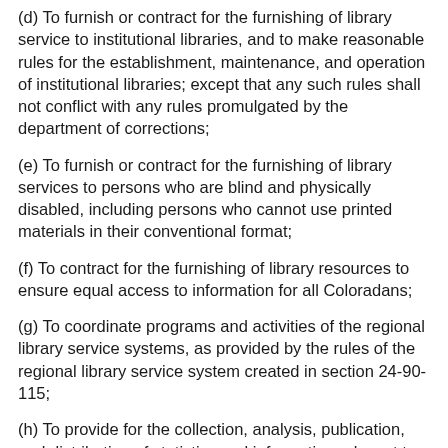(d) To furnish or contract for the furnishing of library service to institutional libraries, and to make reasonable rules for the establishment, maintenance, and operation of institutional libraries; except that any such rules shall not conflict with any rules promulgated by the department of corrections;
(e) To furnish or contract for the furnishing of library services to persons who are blind and physically disabled, including persons who cannot use printed materials in their conventional format;
(f) To contract for the furnishing of library resources to ensure equal access to information for all Coloradans;
(g) To coordinate programs and activities of the regional library service systems, as provided by the rules of the regional library service system created in section 24-90-115;
(h) To provide for the collection, analysis, publication, and distribution of statistics and information relevant to the state library and to public, school, academic, and institutional libraries. Publications circulated in